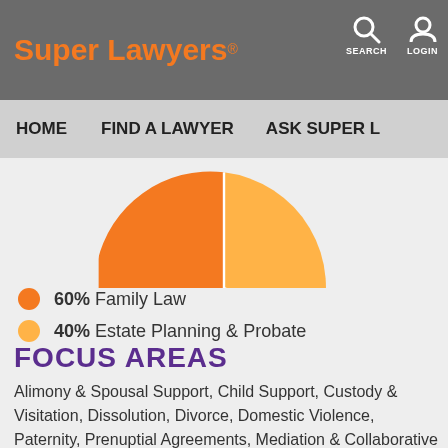Super Lawyers | SEARCH | LOGIN
HOME | FIND A LAWYER | ASK SUPER L...
[Figure (pie-chart): Practice area breakdown]
60%  Family Law
40%  Estate Planning & Probate
FOCUS AREAS
Alimony & Spousal Support, Child Support, Custody & Visitation, Dissolution, Divorce, Domestic Violence, Paternity, Prenuptial Agreements, Mediation & Collaborative Law, Same Sex Family Law, Father's Rights, Guardianships & Conservatorships, Living Wills...